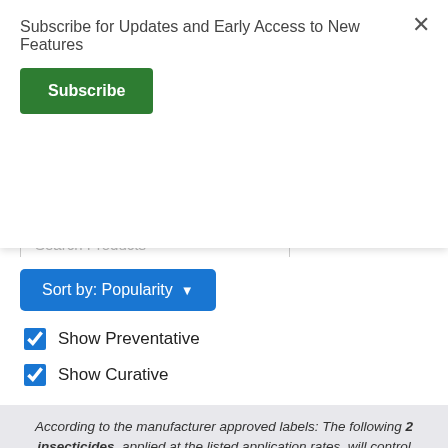Subscribe for Updates and Early Access to New Features
Subscribe
Search Products
Sort by: Popularity
Show Preventative
Show Curative
According to the manufacturer approved labels: The following 2 insecticides, applied at the listed application rates, will control Borers.
Demon Max